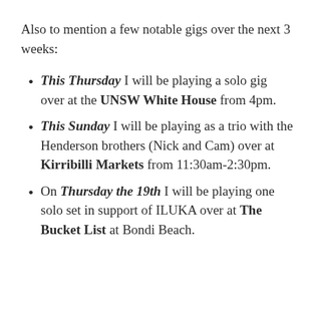Also to mention a few notable gigs over the next 3 weeks:
This Thursday I will be playing a solo gig over at the UNSW White House from 4pm.
This Sunday I will be playing as a trio with the Henderson brothers (Nick and Cam) over at Kirribilli Markets from 11:30am-2:30pm.
On Thursday the 19th I will be playing one solo set in support of ILUKA over at The Bucket List at Bondi Beach.